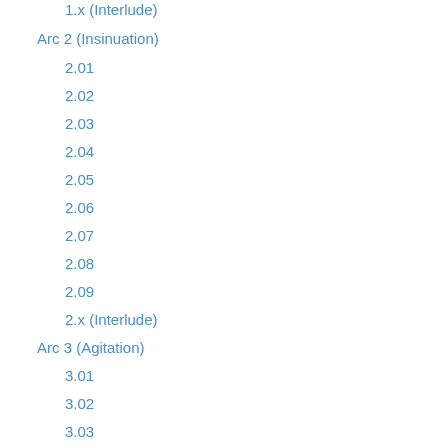1.x (Interlude)
Arc 2 (Insinuation)
2.01
2.02
2.03
2.04
2.05
2.06
2.07
2.08
2.09
2.x (Interlude)
Arc 3 (Agitation)
3.01
3.02
3.03
3.04
3.05
3.06
3.07